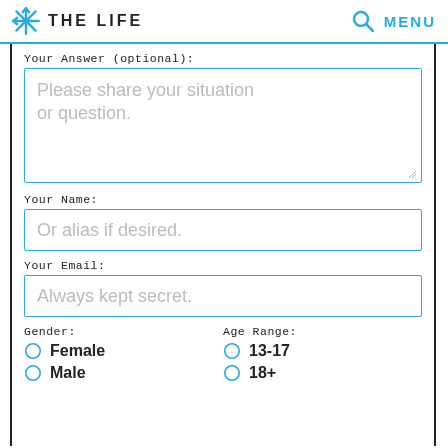THE LIFE   🔍 MENU
Your Answer (optional):
Please share your situation or question.
Your Name:
Or alias if desired.
Your Email:
Always kept secret.
Gender:
Age Range:
Female
Male
13-17
18+